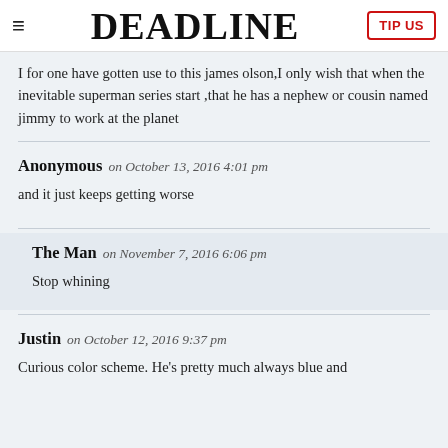DEADLINE | TIP US
I for one have gotten use to this james olson,I only wish that when the inevitable superman series start ,that he has a nephew or cousin named jimmy to work at the planet
Anonymous on October 13, 2016 4:01 pm
and it just keeps getting worse
The Man on November 7, 2016 6:06 pm
Stop whining
Justin on October 12, 2016 9:37 pm
Curious color scheme. He's pretty much always blue and